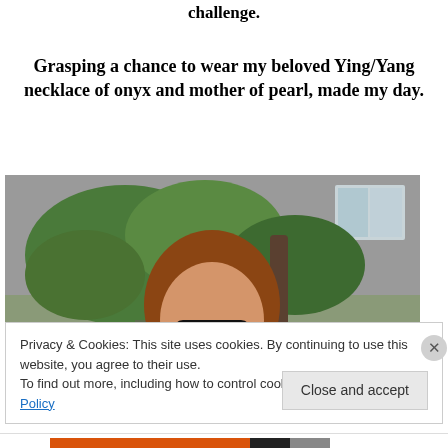Pairing it with the cobalt is a first and all due to the challenge.
Grasping a chance to wear my beloved Ying/Yang necklace of onyx and mother of pearl, made my day.
[Figure (photo): Woman with red/brown hair and sunglasses smiling, outdoors with trees and gray house siding in background.]
Privacy & Cookies: This site uses cookies. By continuing to use this website, you agree to their use.
To find out more, including how to control cookies, see here: Cookie Policy
Close and accept